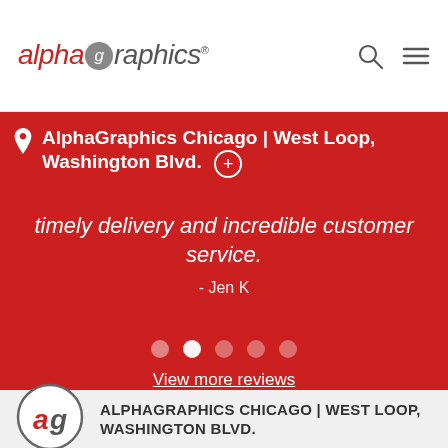alphagraphics
AlphaGraphics Chicago | West Loop, Washington Blvd.
timely delivery and incredible customer service.
- Jen K
View more reviews
[Figure (logo): AlphaGraphics circular AG logo mark in gray border with red 'a' and gray 'g' letters]
ALPHAGRAPHICS CHICAGO | WEST LOOP, WASHINGTON BLVD.